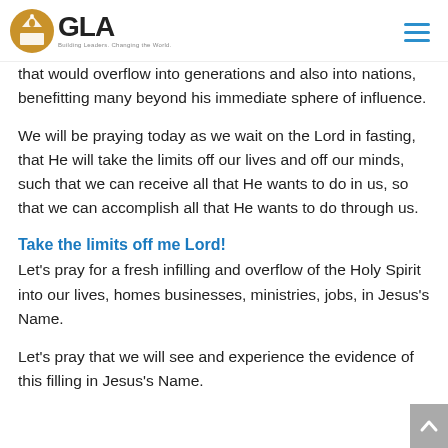GLA - Building Leaders. Changing the World.
that would overflow into generations and also into nations, benefitting many beyond his immediate sphere of influence.
We will be praying today as we wait on the Lord in fasting, that He will take the limits off our lives and off our minds, such that we can receive all that He wants to do in us, so that we can accomplish all that He wants to do through us.
Take the limits off me Lord!
Let's pray for a fresh infilling and overflow of the Holy Spirit into our lives, homes businesses, ministries, jobs, in Jesus's Name.
Let's pray that we will see and experience the evidence of this filling in Jesus's Name.